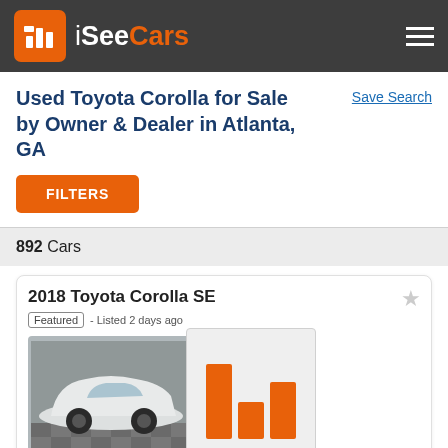iSeeCars
Used Toyota Corolla for Sale by Owner & Dealer in Atlanta, GA
Save Search
FILTERS
892 Cars
2018 Toyota Corolla SE
Featured - Listed 2 days ago
[Figure (bar-chart): Bar chart showing price comparison with market, three orange bars of varying heights]
$151 Above Market
$19,999
67,897 mi
dealer rating
[Figure (photo): White 2018 Toyota Corolla SE sedan, front three-quarter view in a lot with checkered floor]
HOME DELIVERY
2015 Toyota Corolla LE